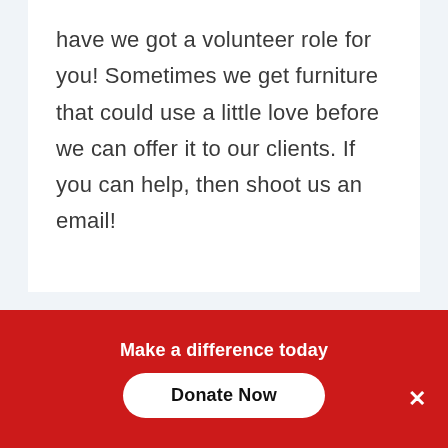have we got a volunteer role for you! Sometimes we get furniture that could use a little love before we can offer it to our clients. If you can help, then shoot us an email!
[Figure (photo): Close-up photo of denim/fabric clothing in blue-grey tones with a cable visible]
Make a difference today
Donate Now